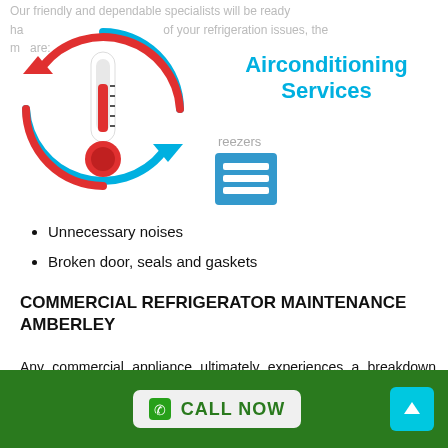Our friendly and dependable specialists will be ready ha of your refrigeration issues, the mo are:
[Figure (logo): Circular thermometer logo with blue and red arrows indicating temperature cycling — Airconditioning Services brand icon]
Airconditioning Services
reezers
[Figure (other): Blue square menu/list icon]
Unnecessary noises
Broken door, seals and gaskets
COMMERCIAL REFRIGERATOR MAINTENANCE AMBERLEY
Any commercial appliance ultimately experiences a breakdown after years of use. Do not await this to take place and interrupt your company. Every minute of non-activity will cost you money, which is why it is
CALL NOW